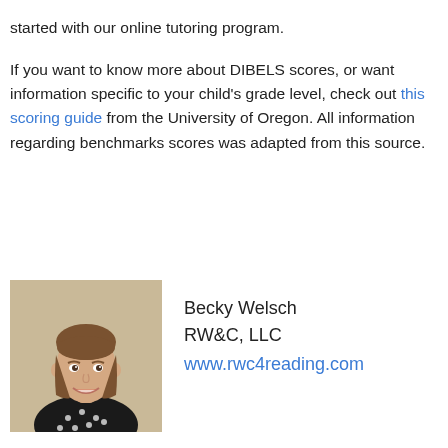started with our online tutoring program.

If you want to know more about DIBELS scores, or want information specific to your child's grade level, check out this scoring guide from the University of Oregon. All information regarding benchmarks scores was adapted from this source.
[Figure (photo): Headshot photo of Becky Welsch, a young woman with brown hair pulled back, wearing a black top with white polka dots, smiling against a light beige background.]
Becky Welsch
RW&C, LLC
www.rwc4reading.com